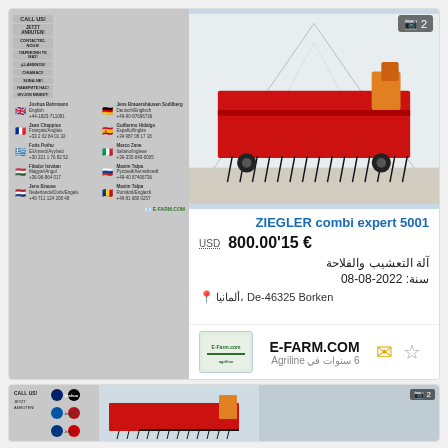[Figure (infographic): Contact card with multiple language representatives shown as flag circles with names and phone numbers]
[Figure (photo): Red ZIEGLER combi expert 5001 agricultural cultivator/tine harrow machine in a white tent/warehouse]
ZIEGLER combi expert 5001
€ 15,800.00 USD
آلة التعشيب والفلاحة
سنة: 2022-08-08
ألمانيا، De-46325 Borken
E-FARM.COM
6 سنوات في Agriline
[Figure (infographic): Bottom preview of contact card similar to top]
[Figure (photo): Bottom preview of agricultural machine photo]